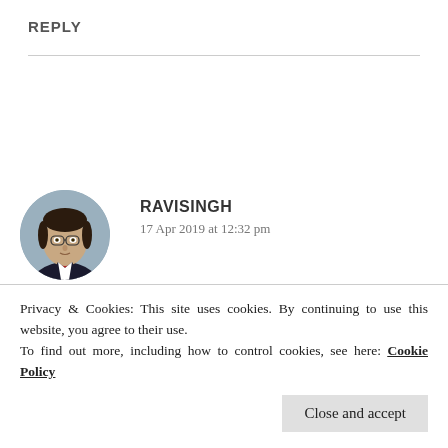REPLY
[Figure (photo): Circular avatar photo of a man in a dark suit with a red tie, with a neutral expression, against a light background.]
RAVISINGH
17 Apr 2019 at 12:32 pm
Well studies first! Do you have some exams?
...wish you good luck Priya!
Privacy & Cookies: This site uses cookies. By continuing to use this website, you agree to their use.
To find out more, including how to control cookies, see here: Cookie Policy
Close and accept